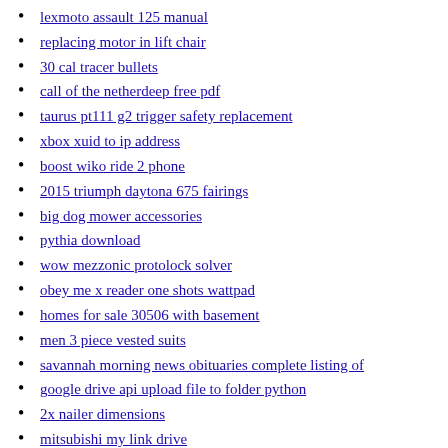lexmoto assault 125 manual
replacing motor in lift chair
30 cal tracer bullets
call of the netherdeep free pdf
taurus pt111 g2 trigger safety replacement
xbox xuid to ip address
boost wiko ride 2 phone
2015 triumph daytona 675 fairings
big dog mower accessories
pythia download
wow mezzonic protolock solver
obey me x reader one shots wattpad
homes for sale 30506 with basement
men 3 piece vested suits
savannah morning news obituaries complete listing of
google drive api upload file to folder python
2x nailer dimensions
mitsubishi my link drive
small firewood processor for sale
scp doctors x reader lemon
salesforce text field default value formula
running matlab from cmd
ema scalping
greenhouse vent opener
amarok wheels on t5